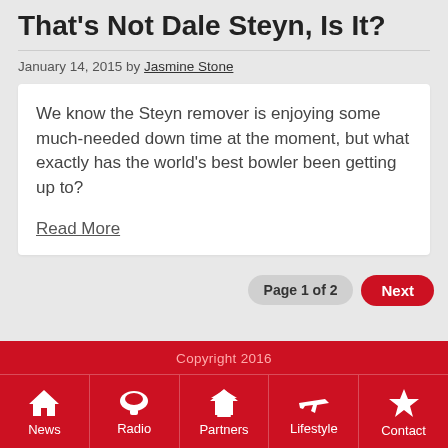That's Not Dale Steyn, Is It?
January 14, 2015 by Jasmine Stone
We know the Steyn remover is enjoying some much-needed down time at the moment, but what exactly has the world's best bowler been getting up to?
Read More
Page 1 of 2  Next
Copyright 2016
News  Radio  Partners  Lifestyle  Contact